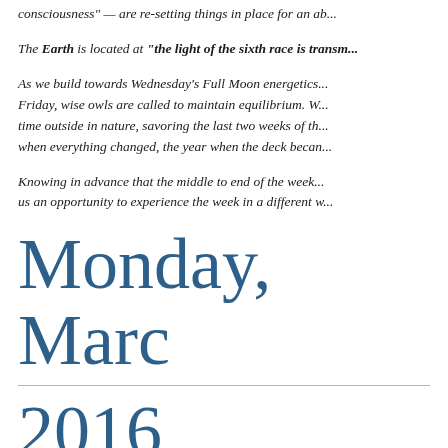consciousness” — are re-setting things in place for an ab...
The Earth is located at “the light of the sixth race is transm...
As we build towards Wednesday’s Full Moon energetics... Friday, wise owls are called to maintain equilibrium. W... time outside in nature, savoring the last two weeks of th... when everything changed, the year when the deck becan...
Knowing in advance that the middle to end of the week... us an opportunity to experience the week in a different w...
Monday, Marc 2016
Gibbous Moon Phase: trust, manifestation...